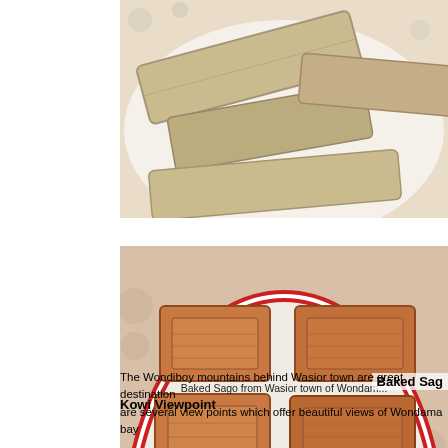[Figure (photo): Close-up photo of baked sago pieces on a decorative plate, top portion visible, showing light tan colored baked sago sticks arranged on a white plate with floral pattern]
[Figure (photo): Photo of baked sago pieces arranged on a decorative plate with red and blue floral border, showing golden-brown rectangular pieces of baked sago]
Baked Sago from Wasior town of Wondam...
Kowi Viewpoint
The Wondiboy mountains behind Wasior town are great destination ... are several view points which offer beautiful views of Wondama bay ... ...